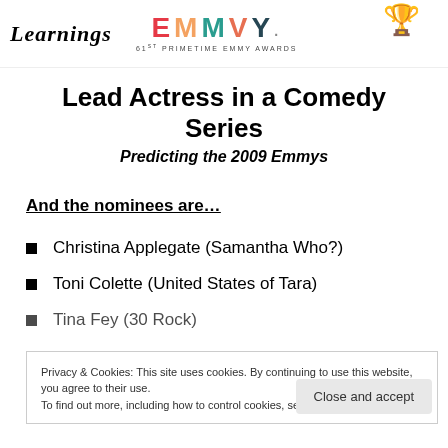[Figure (logo): Learnings cursive logo and 61st Primetime Emmy Awards logo with statuette illustration]
Lead Actress in a Comedy Series
Predicting the 2009 Emmys
And the nominees are…
Christina Applegate (Samantha Who?)
Toni Colette (United States of Tara)
Tina Fey (30 Rock)
Privacy & Cookies: This site uses cookies. By continuing to use this website, you agree to their use.
To find out more, including how to control cookies, see here: Cookie Policy
Close and accept